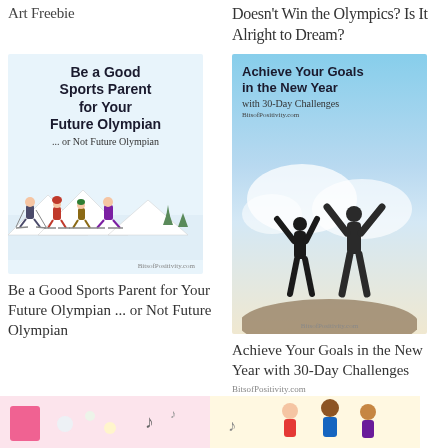Art Freebie
Doesn't Win the Olympics? Is It Alright to Dream?
[Figure (illustration): Be a Good Sports Parent for Your Future Olympian ... or Not Future Olympian - illustrated card with cartoon skiers, BitsofPositivity.com]
[Figure (illustration): Achieve Your Goals in the New Year with 30-Day Challenges - silhouette of two people with arms raised, BitsofPositivity.com]
Be a Good Sports Parent for Your Future Olympian ... or Not Future Olympian
Achieve Your Goals in the New Year with 30-Day Challenges
BitsofPositivity.com
[Figure (illustration): Partial bottom-left decorative image with pink and sparkle elements]
[Figure (illustration): Partial bottom-right image with children figures]